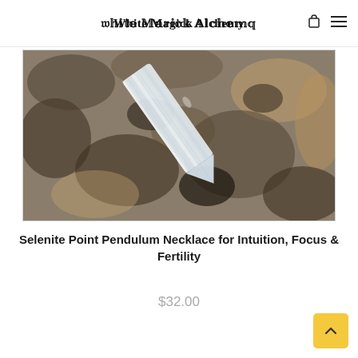White Magick Alchemy
[Figure (photo): Close-up photo of a translucent white selenite crystal point wand lying on a rough granite/stone surface with brown, grey and black tones.]
Selenite Point Pendulum Necklace for Intuition, Focus & Fertility
$32.00